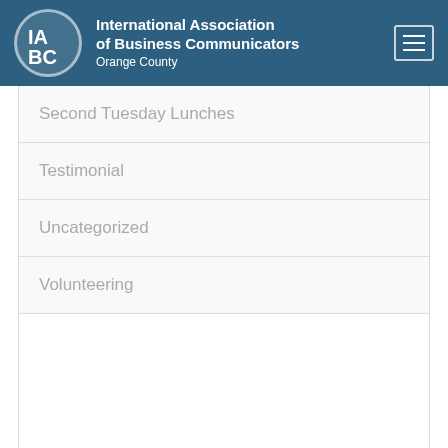International Association of Business Communicators Orange County
Second Tuesday Lunches
Testimonial
Uncategorized
Volunteering